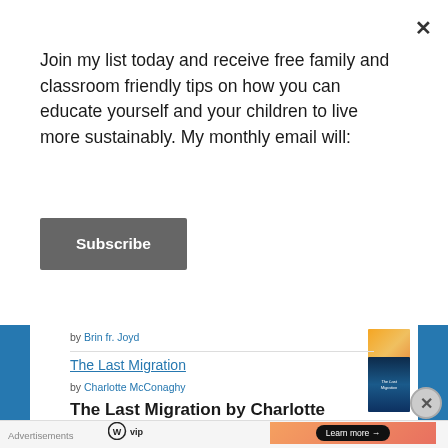Join my list today and receive free family and classroom friendly tips on how you can educate yourself and your children to live more sustainably. My monthly email will:
Subscribe
by Brin fr. Joyd
The Last Migration
by Charlotte McConaghy
The Last Migration by Charlotte McConaghy is a moving story - full of love,
Advertisements